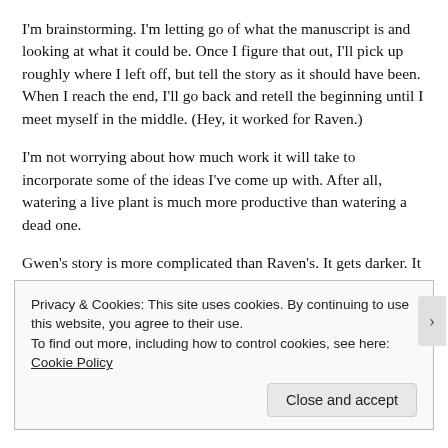I'm brainstorming. I'm letting go of what the manuscript is and looking at what it could be. Once I figure that out, I'll pick up roughly where I left off, but tell the story as it should have been. When I reach the end, I'll go back and retell the beginning until I meet myself in the middle. (Hey, it worked for Raven.)
I'm not worrying about how much work it will take to incorporate some of the ideas I've come up with. After all, watering a live plant is much more productive than watering a dead one.
Gwen's story is more complicated than Raven's. It gets darker. It gets more dangerous. But I want to tell it.
Privacy & Cookies: This site uses cookies. By continuing to use this website, you agree to their use.
To find out more, including how to control cookies, see here: Cookie Policy
Close and accept